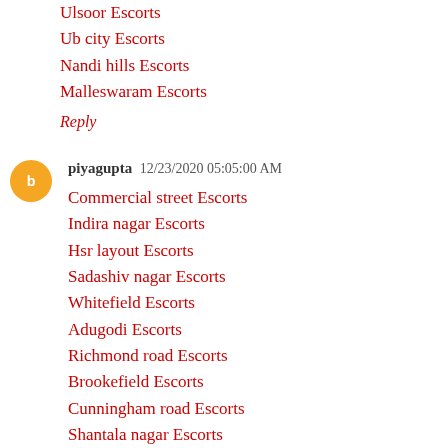Ulsoor Escorts
Ub city Escorts
Nandi hills Escorts
Malleswaram Escorts
Reply
piyagupta  12/23/2020 05:05:00 AM
Commercial street Escorts
Indira nagar Escorts
Hsr layout Escorts
Sadashiv nagar Escorts
Whitefield Escorts
Adugodi Escorts
Richmond road Escorts
Brookefield Escorts
Cunningham road Escorts
Shantala nagar Escorts
Reply